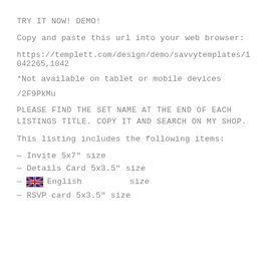TRY IT NOW! DEMO!
Copy and paste this url into your web browser:
https://templett.com/design/demo/savvytemplates/1042265,1042
*Not available on tablet or mobile devices
/2F9PkMu
PLEASE FIND THE SET NAME AT THE END OF EACH LISTINGS TITLE. COPY IT AND SEARCH ON MY SHOP.
This listing includes the following items:
— Invite 5x7" size
— Details Card 5x3.5" size
— [flag: English] size
— RSVP card 5x3.5" size